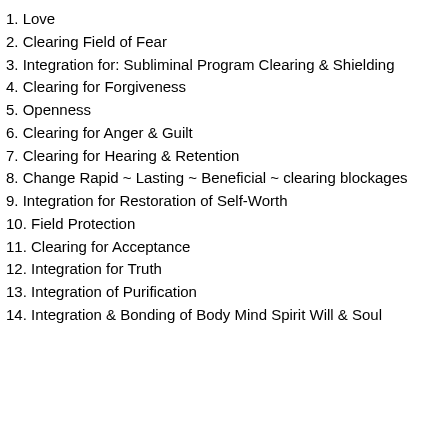1. Love
2. Clearing Field of Fear
3. Integration for: Subliminal Program Clearing & Shielding
4. Clearing for Forgiveness
5. Openness
6. Clearing for Anger & Guilt
7. Clearing for Hearing & Retention
8. Change Rapid ~ Lasting ~ Beneficial ~ clearing blockages
9. Integration for Restoration of Self-Worth
10. Field Protection
11. Clearing for Acceptance
12. Integration for Truth
13. Integration of Purification
14. Integration & Bonding of Body Mind Spirit Will & Soul